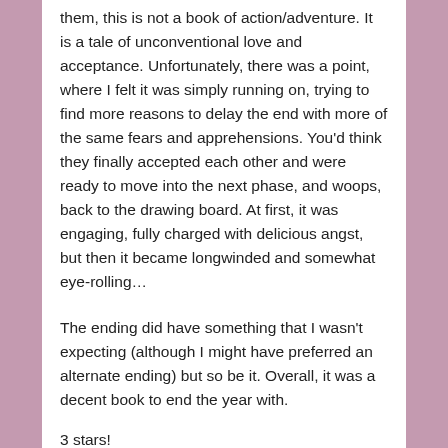them, this is not a book of action/adventure. It is a tale of unconventional love and acceptance. Unfortunately, there was a point, where I felt it was simply running on, trying to find more reasons to delay the end with more of the same fears and apprehensions. You'd think they finally accepted each other and were ready to move into the next phase, and woops, back to the drawing board. At first, it was engaging, fully charged with delicious angst,   but then it became longwinded and somewhat eye-rolling…
The ending did have something that I wasn't expecting (although I might have preferred an alternate ending) but so be it. Overall, it was a decent book to end the year with.
3 stars!
Guess what I get to do now?!! It's time for J.Kaye's 100+ Reading Challenge, and I'm gonna start it with a bang! I hear the Fever Series from Karen Marie…